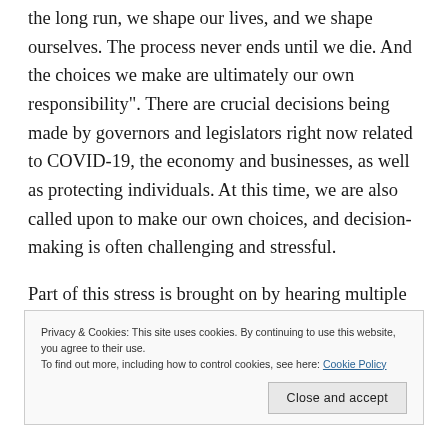the long run, we shape our lives, and we shape ourselves. The process never ends until we die. And the choices we make are ultimately our own responsibility". There are crucial decisions being made by governors and legislators right now related to COVID-19, the economy and businesses, as well as protecting individuals. At this time, we are also called upon to make our own choices, and decision-making is often challenging and stressful.
Part of this stress is brought on by hearing multiple conflicting ideas about how to open a country back up,
Privacy & Cookies: This site uses cookies. By continuing to use this website, you agree to their use.
To find out more, including how to control cookies, see here: Cookie Policy
Close and accept